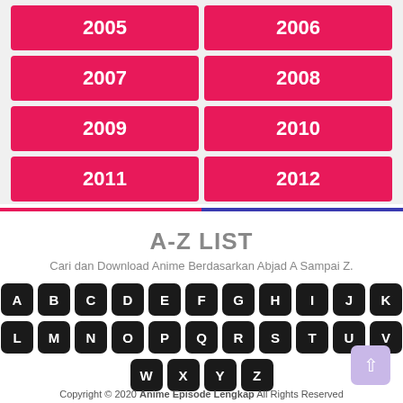| 2005 | 2006 |
| 2007 | 2008 |
| 2009 | 2010 |
| 2011 | 2012 |
A-Z LIST
Cari dan Download Anime Berdasarkan Abjad A Sampai Z.
[Figure (other): Keyboard-style letter buttons A-Z arranged in three rows]
[Figure (logo): AnimeEpisodeLengkap.my.id logo in orange stylized text]
Copyright © 2020 Anime Episode Lengkap All Rights Reserved